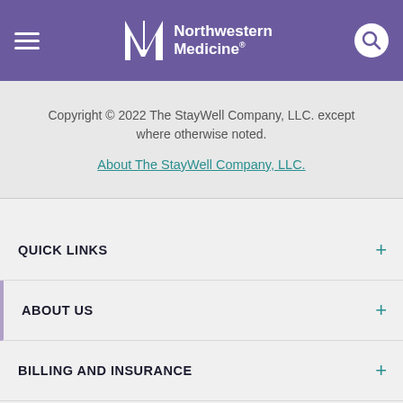[Figure (logo): Northwestern Medicine logo with hamburger menu and search icon on purple header bar]
Copyright © 2022 The StayWell Company, LLC. except where otherwise noted.
About The StayWell Company, LLC.
QUICK LINKS
ABOUT US
BILLING AND INSURANCE
FOR MEDICAL PROFESSIONALS